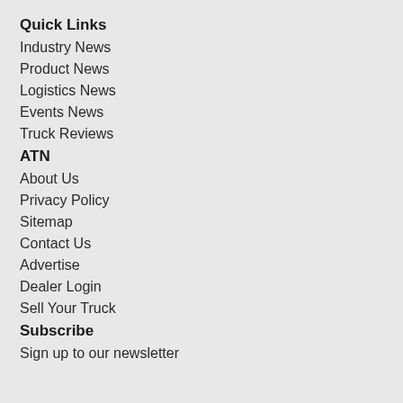Quick Links
Industry News
Product News
Logistics News
Events News
Truck Reviews
ATN
About Us
Privacy Policy
Sitemap
Contact Us
Advertise
Dealer Login
Sell Your Truck
Subscribe
Sign up to our newsletter